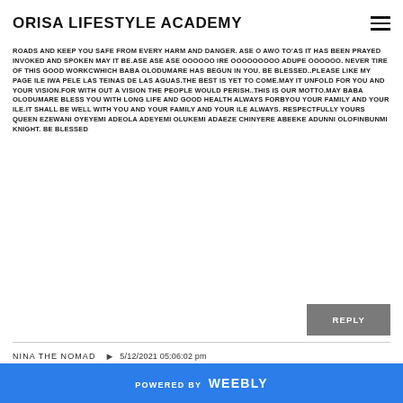ORISA LIFESTYLE ACADEMY
ROADS AND KEEP YOU SAFE FROM EVERY HARM AND DANGER. ASE O AWO TO'AS IT HAS BEEN PRAYED INVOKED AND SPOKEN MAY IT BE.ASE ASE ASE OOOOOO IRE OOOOOOOOO ADUPE OOOOOO. NEVER TIRE OF THIS GOOD WORKCWHICH BABA OLODUMARE HAS BEGUN IN YOU. BE BLESSED..PLEASE LIKE MY PAGE ILE IWA PELE LAS TEINAS DE LAS AGUAS.THE BEST IS YET TO COME.MAY IT UNFOLD FOR YOU AND YOUR VISION.FOR WITH OUT A VISION THE PEOPLE WOULD PERISH..THIS IS OUR MOTTO.MAY BABA OLODUMARE BLESS YOU WITH LONG LIFE AND GOOD HEALTH ALWAYS FORBYOU YOUR FAMILY AND YOUR ILE.IT SHALL BE WELL WITH YOU AND YOUR FAMILY AND YOUR ILE ALWAYS. RESPECTFULLY YOURS QUEEN EZEWANI OYEYEMI ADEOLA ADEYEMI OLUKEMI ADAEZE CHINYERE ABEEKE ADUNNI OLOFINBUNMI KNIGHT. BE BLESSED
REPLY
NINA THE NOMAD
5/12/2021 05:06:02 pm
POWERED BY weebly